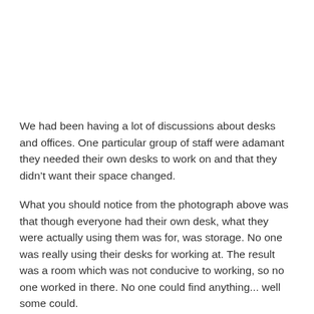We had been having a lot of discussions about desks and offices. One particular group of staff were adamant they needed their own desks to work on and that they didn't want their space changed.
What you should notice from the photograph above was that though everyone had their own desk, what they were actually using them was for, was storage. No one was really using their desks for working at. The result was a room which was not conducive to working, so no one worked in there. No one could find anything... well some could.